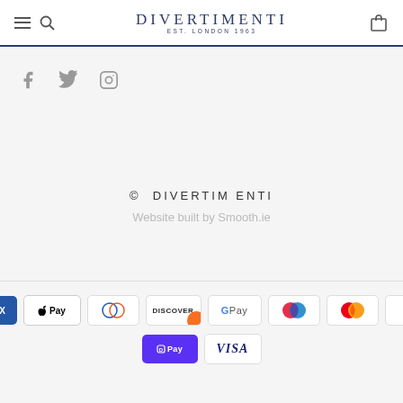DIVERTIMENTI EST. LONDON 1963
[Figure (logo): Social media icons: Facebook, Twitter, Instagram]
© DIVERTIMENTI
Website built by Smooth.ie
[Figure (infographic): Payment method badges: American Express, Apple Pay, Diners Club, Discover, Google Pay, Maestro, Mastercard, PayPal, Shop Pay, Visa]